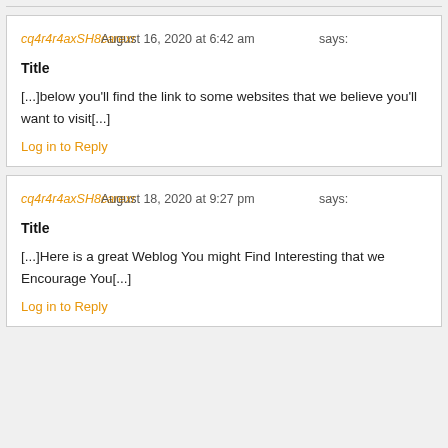cq4r4r4axSH8carexr says: August 16, 2020 at 6:42 am
Title
[...]below you'll find the link to some websites that we believe you'll want to visit[...]
Log in to Reply
cq4r4r4axSH8carexr says: August 18, 2020 at 9:27 pm
Title
[...]Here is a great Weblog You might Find Interesting that we Encourage You[...]
Log in to Reply